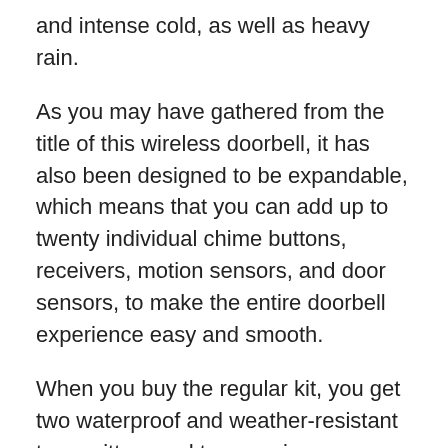and intense cold, as well as heavy rain.
As you may have gathered from the title of this wireless doorbell, it has also been designed to be expandable, which means that you can add up to twenty individual chime buttons, receivers, motion sensors, and door sensors, to make the entire doorbell experience easy and smooth.
When you buy the regular kit, you get two waterproof and weather-resistant transmitters and two receivers.
In comparison to others, this may be a more “incomplete” package, but the intent is for you to expand this system as much as you want, so that it can become a complete security system, rather than just a wireless doorbell.